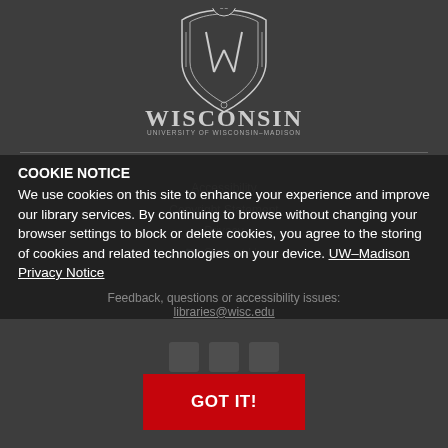[Figure (logo): University of Wisconsin-Madison crest/shield logo with 'WISCONSIN' text and 'UNIVERSITY OF WISCONSIN-MADISON' subtitle]
COOKIE NOTICE
We use cookies on this site to enhance your experience and improve our library services. By continuing to browse without changing your browser settings to block or delete cookies, you agree to the storing of cookies and related technologies on your device. UW–Madison Privacy Notice
Feedback, questions or accessibility issues: libraries@wisc.edu
GOT IT!